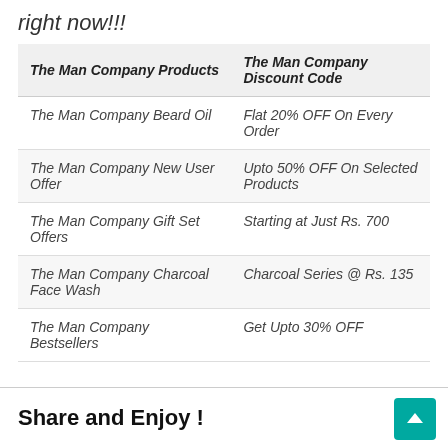right now!!!
| The Man Company Products | The Man Company Discount Code |
| --- | --- |
| The Man Company Beard Oil | Flat 20% OFF On Every Order |
| The Man Company New User Offer | Upto 50% OFF On Selected Products |
| The Man Company Gift Set Offers | Starting at Just Rs. 700 |
| The Man Company Charcoal Face Wash | Charcoal Series @ Rs. 135 |
| The Man Company Bestsellers | Get Upto 30% OFF |
Share and Enjoy !